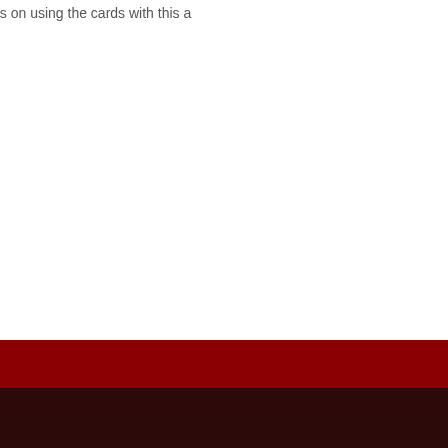Articles on using the cards with this a…
Click to Download
QTY: 1